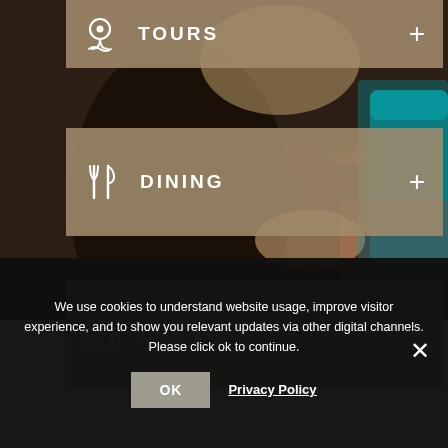[Figure (screenshot): Website screenshot showing a restaurant/tourism site with a background photo of people dining outdoors. Three accordion-style menu buttons are overlaid: TOURS, DINING, and EVENTS, each with an icon and a plus sign. A cookie consent banner is at the bottom.]
TOURS +
DINING +
EVENTS +
We use cookies to understand website usage, improve visitor experience, and to show you relevant updates via other digital channels. Please click ok to continue.
OK
Privacy Policy